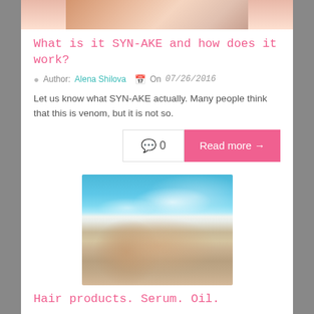[Figure (photo): Top portion of a beauty/cosmetics photo, partially cropped]
What is it SYN-AKE and how does it work?
Author: Alena Shilova   On 07/26/2016
Let us know what SYN-AKE actually. Many people think that this is venom, but it is not so.
0  Read more →
[Figure (photo): Woman in white bikini lying on a beach with ocean waves in background]
Hair products. Serum. Oil.